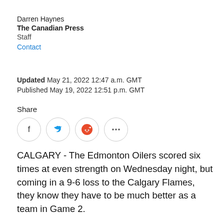Darren Haynes
The Canadian Press
Staff
Contact
Updated May 21, 2022 12:47 a.m. GMT
Published May 19, 2022 12:51 p.m. GMT
Share
[Figure (other): Social sharing icons: Facebook (circle with 'f'), Twitter (circle with bird), Reddit (circle with alien logo in orange), More options (circle with '...')]
CALGARY - The Edmonton Oilers scored six times at even strength on Wednesday night, but coming in a 9-6 loss to the Calgary Flames, they know they have to be much better as a team in Game 2.
“We scored six goals and that should be enough to win the game,” said Edmonton coach